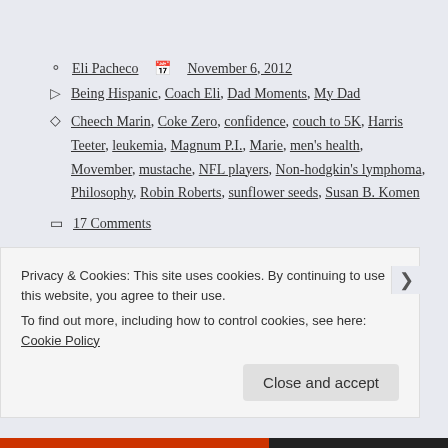Eli Pacheco   November 6, 2012
Being Hispanic, Coach Eli, Dad Moments, My Dad
Cheech Marin, Coke Zero, confidence, couch to 5K, Harris Teeter, leukemia, Magnum P.I., Marie, men's health, Movember, mustache, NFL players, Non-hodgkin's lymphoma, Philosophy, Robin Roberts, sunflower seeds, Susan B. Komen
17 Comments
Privacy & Cookies: This site uses cookies. By continuing to use this website, you agree to their use.
To find out more, including how to control cookies, see here: Cookie Policy